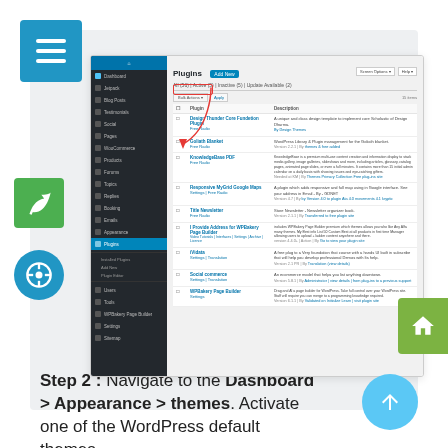[Figure (screenshot): WordPress Admin Dashboard showing the Plugins page with a list of installed plugins including Design Thunder Core, Goliath Blanket, KnowledgeBase PDF, Responsive MyGrid Google Maps, Title Newsletter, Provide Address for WPBakery Page Builder, iVidata, Social commerce, WPBakery Page Builder. A red box highlights the 'Free Radio' button and a red arrow points to it from the Plugins menu item in the sidebar.]
Step 2 : Navigate to the Dashboard > Appearance > themes. Activate one of the WordPress default themes